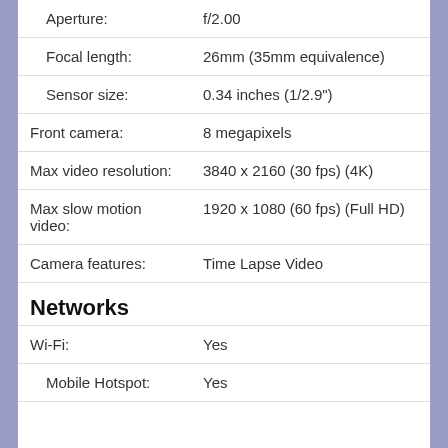| Property | Value |
| --- | --- |
| Aperture: | f/2.00 |
| Focal length: | 26mm (35mm equivalence) |
| Sensor size: | 0.34 inches (1/2.9") |
| Front camera: | 8 megapixels |
| Max video resolution: | 3840 x 2160 (30 fps) (4K) |
| Max slow motion video: | 1920 x 1080 (60 fps) (Full HD) |
| Camera features: | Time Lapse Video |
Networks
| Property | Value |
| --- | --- |
| Wi-Fi: | Yes |
| Mobile Hotspot: | Yes |